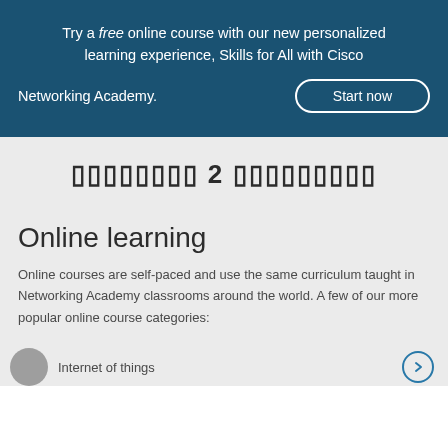Try a free online course with our new personalized learning experience, Skills for All with Cisco Networking Academy. Start now
░░░░░░░░ 2 ░░░░░░░░░
Online learning
Online courses are self-paced and use the same curriculum taught in Networking Academy classrooms around the world. A few of our more popular online course categories:
Internet of things